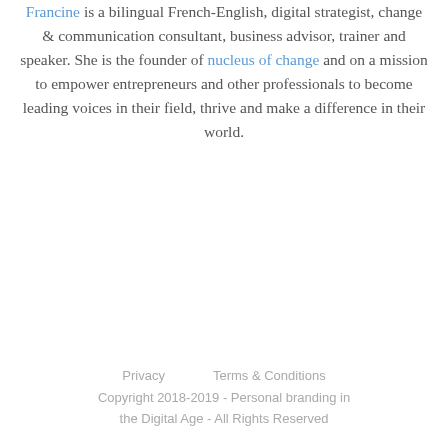Francine is a bilingual French-English, digital strategist, change & communication consultant, business advisor, trainer and speaker. She is the founder of nucleus of change and on a mission to empower entrepreneurs and other professionals to become leading voices in their field, thrive and make a difference in their world.
Privacy   Terms & Conditions
Copyright 2018-2019 - Personal branding in the Digital Age - All Rights Reserved